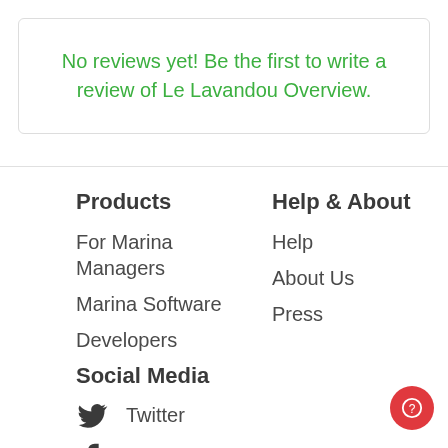No reviews yet! Be the first to write a review of Le Lavandou Overview.
Products
For Marina Managers
Marina Software
Developers
Social Media
Twitter
Facebook
Instagram
Marina Blog
Boater Blog
Help & About
Help
About Us
Press